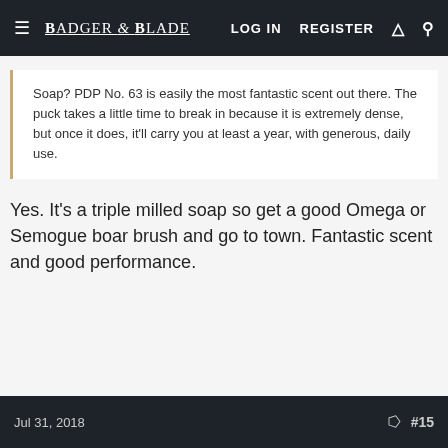Badger & Blade | LOG IN  REGISTER
Soap? PDP No. 63 is easily the most fantastic scent out there. The puck takes a little time to break in because it is extremely dense, but once it does, it'll carry you at least a year, with generous, daily use.
Yes. It's a triple milled soap so get a good Omega or Semogue boar brush and go to town. Fantastic scent and good performance.
Jul 31, 2018   #15